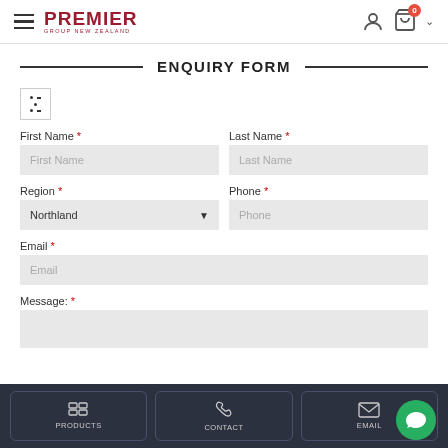Premier Group New Zealand - Navigation header with logo, hamburger menu, user icon, cart with badge 0, and chevron
ENQUIRY FORM
[Figure (other): Filter/sliders icon button]
First Name *
Last Name *
Region *
Phone *
Email *
Message: *
PRODUCTS | CONTACT | EMAIL footer navigation with chat bubble